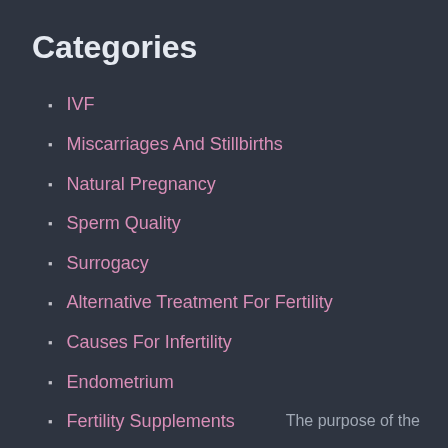Categories
IVF
Miscarriages And Stillbirths
Natural Pregnancy
Sperm Quality
Surrogacy
Alternative Treatment For Fertility
Causes For Infertility
Endometrium
Fertility Supplements
The purpose of the